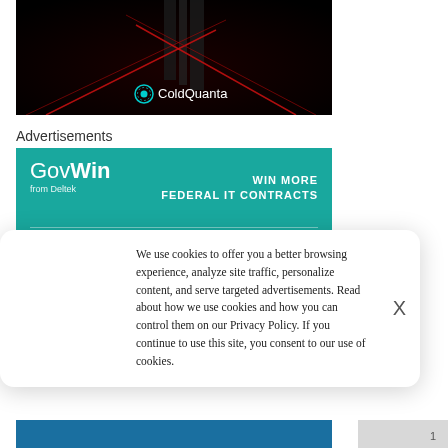[Figure (photo): ColdQuanta advertisement banner with dark background, red laser lines, and ColdQuanta logo at bottom center]
Advertisements
[Figure (photo): GovWin from Deltek advertisement banner in teal color: WIN MORE FEDERAL IT CONTRACTS]
[Figure (logo): ExecutiveBiz logo with italic tagline 'By Concept Innovation']
We use cookies to offer you a better browsing experience, analyze site traffic, personalize content, and serve targeted advertisements. Read about how we use cookies and how you can control them on our Privacy Policy. If you continue to use this site, you consent to our use of cookies.